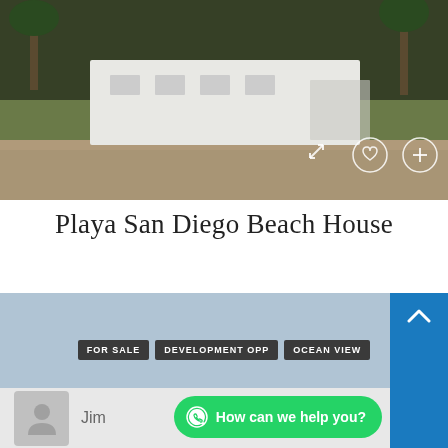[Figure (photo): Exterior photo of a white beach house/villa with tropical vegetation and palm trees, taken from a sandy area. Icons for expand, favorite (heart), and add (+) are overlaid in the bottom right corner.]
Playa San Diego Beach House
$235,000
VILLAS
5 bedrooms, 4 bathrooms
FOR SALE | DEVELOPMENT OPP | OCEAN VIEW
Jim
How can we help you?